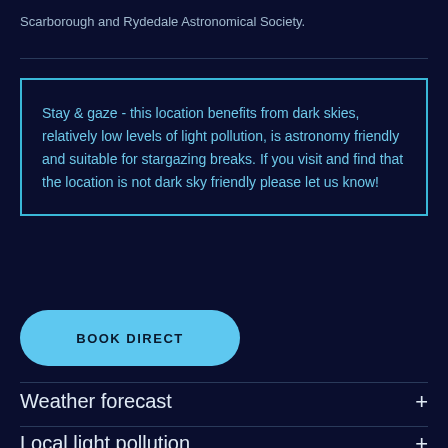Scarborough and Rydedale Astronomical Society.
Stay & gaze - this location benefits from dark skies, relatively low levels of light pollution, is astronomy friendly and suitable for stargazing breaks. If you visit and find that the location is not dark sky friendly please let us know!
BOOK DIRECT
Weather forecast
Local light pollution